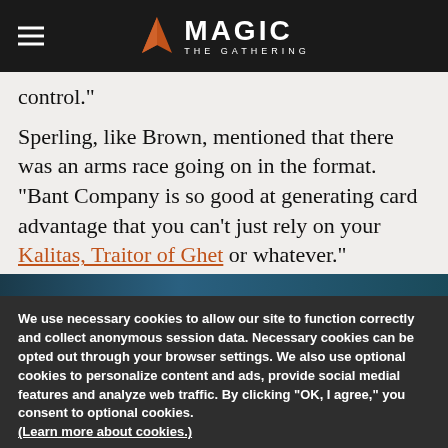Magic: The Gathering
control."
Sperling, like Brown, mentioned that there was an arms race going on in the format. "Bant Company is so good at generating card advantage that you can't just rely on your Kalitas, Traitor of Ghet or whatever."
We use necessary cookies to allow our site to function correctly and collect anonymous session data. Necessary cookies can be opted out through your browser settings. We also use optional cookies to personalize content and ads, provide social medial features and analyze web traffic. By clicking “OK, I agree,” you consent to optional cookies. (Learn more about cookies.)
OK, I agree    No, thanks